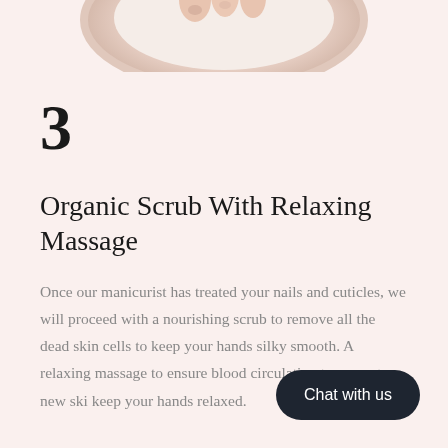[Figure (photo): Top portion of a bowl with cream/scrub product and hands, cropped at the top of the page]
3
Organic Scrub With Relaxing Massage
Once our manicurist has treated your nails and cuticles, we will proceed with a nourishing scrub to remove all the dead skin cells to keep your hands silky smooth. A relaxing massage to ensure blood circulation to promote new ski keep your hands relaxed.
Chat with us